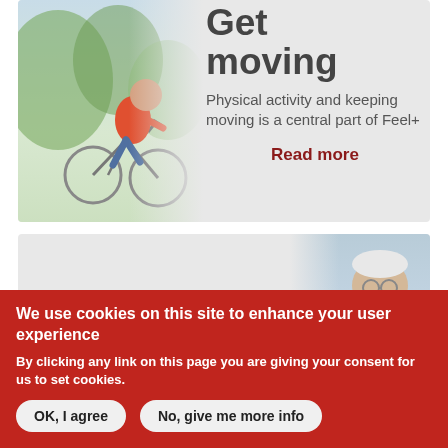[Figure (photo): Man in red shirt riding a bicycle outdoors]
Get moving
Physical activity and keeping moving is a central part of Feel+
Read more
[Figure (photo): Older man with white hair and beard smiling outdoors]
Your
We use cookies on this site to enhance your user experience
By clicking any link on this page you are giving your consent for us to set cookies.
OK, I agree
No, give me more info